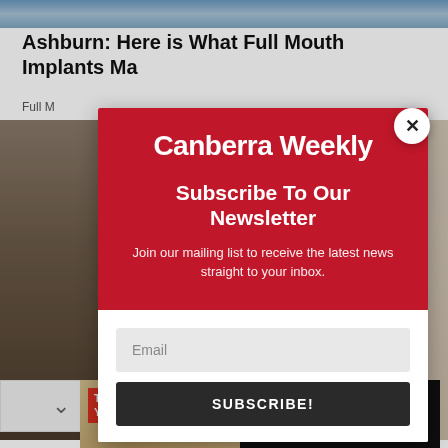[Figure (screenshot): Top portion of a webpage showing a partial dental implants article photo strip]
Ashburn: Here is What Full Mouth Implants Ma
Full M
[Figure (screenshot): Background photo behind modal - shows a room interior]
[Figure (other): Newsletter subscription modal popup for Canberra Weekly with email signup form]
CanberraWeekly
Subscribe To Our Newsletter
Join our mailing list to receive the latest news straight to your inbox.
Email
SUBSCRIBE!
[Figure (other): Advertisement for Canberra Blinds Awning & Curtain Centre with Transform Your Home text on left and brand name on dark background on right. Tagline: We Sell • We Clean • We Repair]